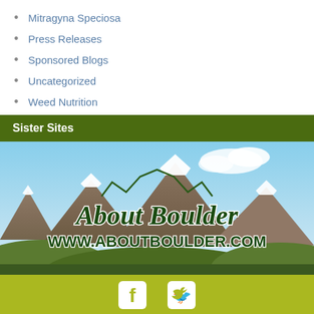Mitragyna Speciosa
Press Releases
Sponsored Blogs
Uncategorized
Weed Nutrition
Sister Sites
[Figure (photo): Mountain landscape with snow-capped peaks and blue sky; overlaid with cursive 'About Boulder' logo text and 'WWW.ABOUTBOULDER.COM' in bold dark green letters]
[Figure (other): Olive/yellow-green footer bar with Facebook and Twitter social media icons]